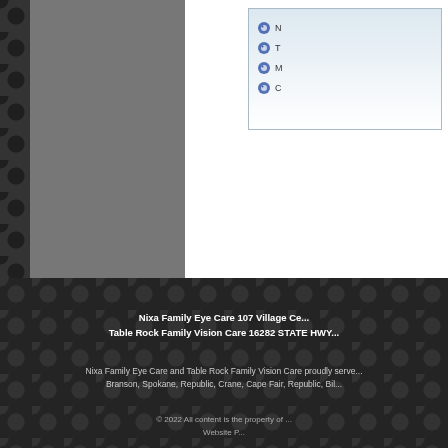[Figure (screenshot): Navigation menu box with gradient background showing list items with globe/eye icons: N, T, M, C (partially visible, cropped)]
[Figure (photo): Gray rectangular image/sidebar panel on left side]
Nixa Family Eye Care 107 Village Ce... | Table Rock Family Vision Care 16282 STATE HWY... | Nixa Family Eye Care and Table Rock Family Vision Care proudly serve... Branson, Spokane, Republic, Crane, Cape Fair, Republic, Bil... | © 2022 All content is the property of ... | Website P...